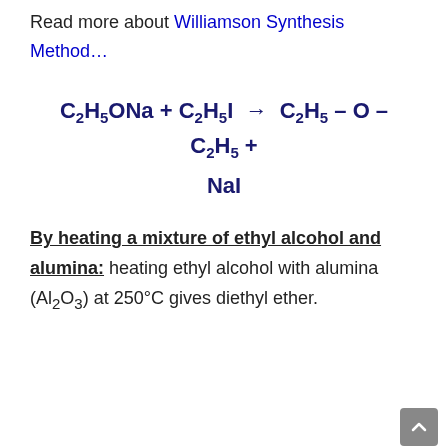Read more about Williamson Synthesis Method…
By heating a mixture of ethyl alcohol and alumina: heating ethyl alcohol with alumina (Al₂O₃) at 250°C gives diethyl ether.